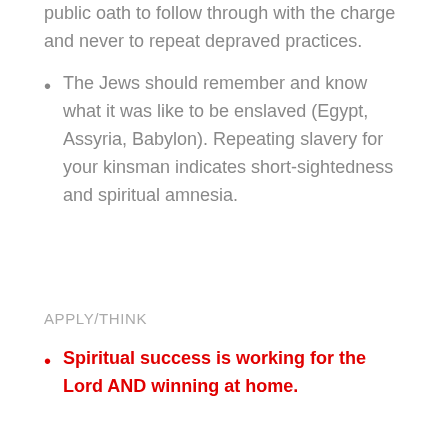public oath to follow through with the charge and never to repeat depraved practices.
The Jews should remember and know what it was like to be enslaved (Egypt, Assyria, Babylon). Repeating slavery for your kinsman indicates short-sightedness and spiritual amnesia.
APPLY/THINK
Spiritual success is working for the Lord AND winning at home.